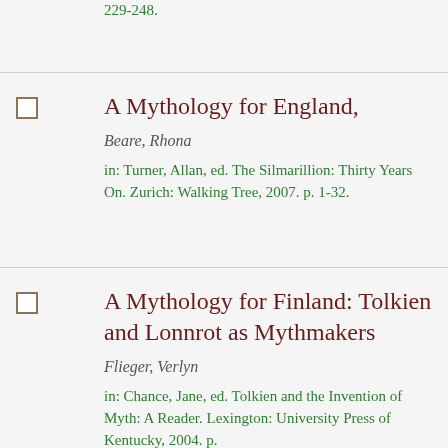229-248.
A Mythology for England,
Beare, Rhona
in: Turner, Allan, ed. The Silmarillion: Thirty Years On. Zurich: Walking Tree, 2007. p. 1-32.
A Mythology for Finland: Tolkien and Lonnrot as Mythmakers
Flieger, Verlyn
in: Chance, Jane, ed. Tolkien and the Invention of Myth: A Reader. Lexington: University Press of Kentucky, 2004. p.